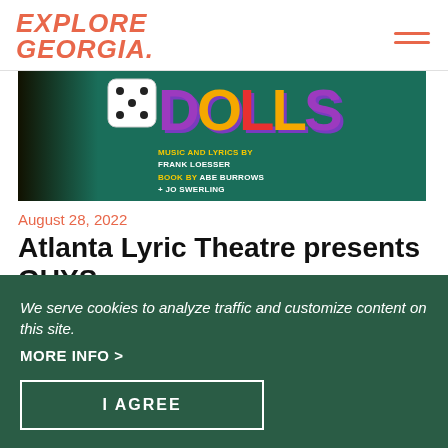EXPLORE GEORGIA.
[Figure (illustration): Promotional banner for Guys & Dolls musical showing dice, colorful title text, and credits: Music and Lyrics by Frank Loesser, Book by Abe Burrows]
August 28, 2022
Atlanta Lyric Theatre presents GUYS & DOLLS
We serve cookies to analyze traffic and customize content on this site.
MORE INFO >
I AGREE